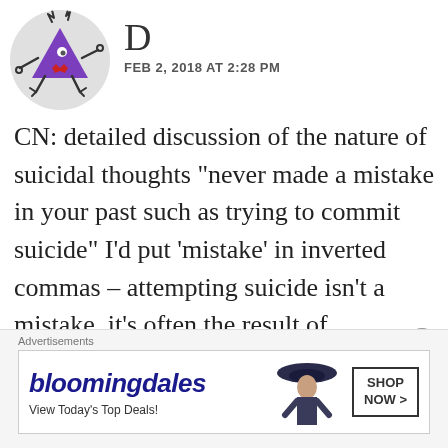[Figure (illustration): Purple cartoon monster avatar in a circular grey background — a triangular purple creature with arms, legs, and a red star-shaped mouth, set inside a light grey circle.]
D
FEB 2, 2018 AT 2:28 PM
CN: detailed discussion of the nature of suicidal thoughts "never made a mistake in your past such as trying to commit suicide" I’d put ‘mistake’ in inverted commas – attempting suicide isn’t a mistake, it’s often the result of desperation and unbearable mental pain, where there’s no
Advertisements
[Figure (screenshot): Bloomingdale's advertisement banner showing logo text 'bloomingdales', subtext 'View Today's Top Deals!', an image of a woman in a wide-brim hat, and a 'SHOP NOW >' button.]